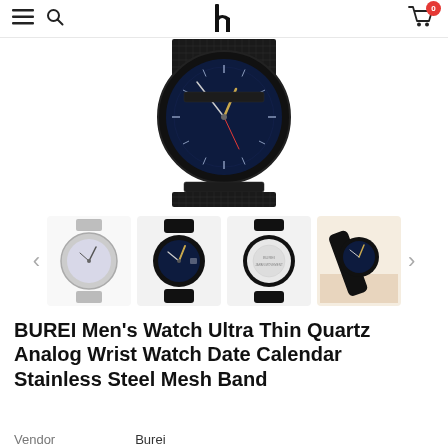Navigation bar with hamburger menu, search icon, logo, and cart (0 items)
[Figure (photo): Main product image: BUREI watch with black mesh band and dark blue dial, shown from above with band visible, on white background]
[Figure (photo): Thumbnail carousel with 4 watch images: silver mesh watch, black watch front view, black watch back view, black watch on surface. Left and right navigation arrows.]
BUREI Men's Watch Ultra Thin Quartz Analog Wrist Watch Date Calendar Stainless Steel Mesh Band
Vendor: Burei